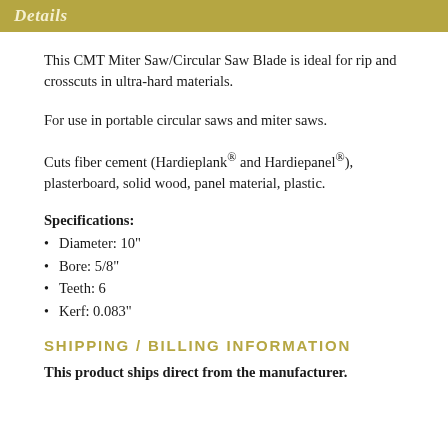Details
This CMT Miter Saw/Circular Saw Blade is ideal for rip and crosscuts in ultra-hard materials.
For use in portable circular saws and miter saws.
Cuts fiber cement (Hardieplank® and Hardiepanel®), plasterboard, solid wood, panel material, plastic.
Specifications:
Diameter: 10"
Bore: 5/8"
Teeth: 6
Kerf: 0.083"
SHIPPING / BILLING INFORMATION
This product ships direct from the manufacturer.